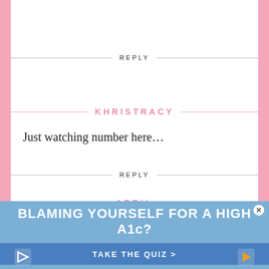REPLY
KHRISTRACY
Just watching number here…
REPLY
APRIL
[Figure (infographic): Advertisement banner with blue background reading 'BLAMING YOURSELF FOR A HIGH A1c?' with a 'TAKE THE QUIZ >' call-to-action button]
BLAMING YOURSELF FOR A HIGH A1c?
TAKE THE QUIZ >